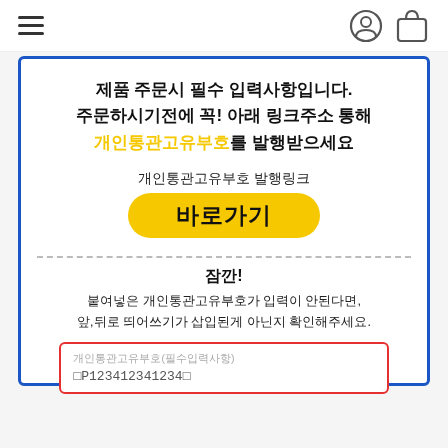≡  [user icon]  [bag icon]
제품 주문시 필수 입력사항입니다.
주문하시기전에 꼭! 아래 링크주소 통해
개인통관고유부호를 발행받으세요
개인통관고유부호 발행링크
바로가기
잠깐!
붙여넣은 개인통관고유부호가 입력이 안된다면,
앞,뒤로 띄어쓰기가 삽입된게 아닌지 확인해주세요.
개인통관고유부호(필수입력사항)
P123412341234